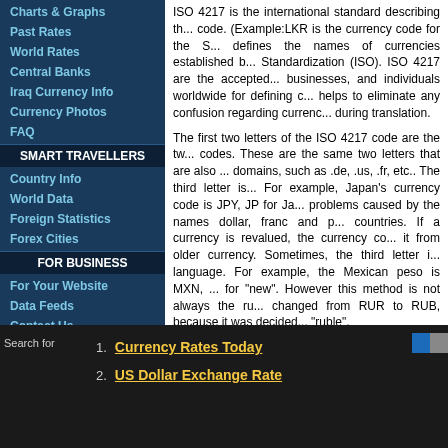Charts & Graphs
Past Rates
World Rates
Central Banks
Iraq Currency Info
Currency Photos
FAQ
SMART TRAVELLERS
Country Info
World Data
Foreign Statistics
Forex Cities
FOR BUSINESS
For Your Website
Data Feeds
Contact Us
Privacy Policy
FUN STUFF
Fun Facts
Currency Milestones
ISO 4217 is the international standard describing the currency code. (Example:LKR is the currency code for the S... defines the names of currencies established b... Standardization (ISO). ISO 4217 are the accepted... businesses, and individuals worldwide for defining c... helps to eliminate any confusion regarding currenc... during translation.
The first two letters of the ISO 4217 code are the two letter codes. These are the same two letters that are also used for internet domains, such as .de, .us, .fr, etc.. The third letter is usually the initial of the currency itself. For example, Japan's currency code is JPY, JP for Japan and Y for Yen. This also helps to eliminate problems caused by the names dollar, franc and pound being used in many countries. If a currency is revalued, the currency code is changed to differentiate it from older currency. Sometimes, the third letter is used for the name of the new currency in the local language. For example, the Mexican peso is MXN, N being the initial for 'Nuevo' in Spanish for "new". However this method is not always the rule, as the Russian Ruble's code changed from RUR to RUB, because it was decided to use an internationally known word "ruble".
A three digit code number is also assigned to each currency. For the USA this is the same as the ISO 3166-1 numeric code. For ex... has the code 840.
For more information on ISO 4217 please refer... Standardization located at http://www.iso.org/iso/hom...
1. Currency Rates Today
2. US Dollar Exchange Rate